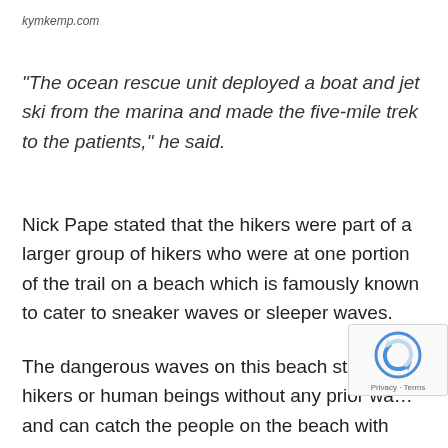kymkemp.com
“The ocean rescue unit deployed a boat and jet ski from the marina and made the five-mile trek to the patients,” he said.
Nick Pape stated that the hikers were part of a larger group of hikers who were at one portion of the trail on a beach which is famously known to cater to sneaker waves or sleeper waves.
The dangerous waves on this beach strike the hikers or human beings without any prior wa… and can catch the people on the beach with surprise as they can see their stuff tumble down